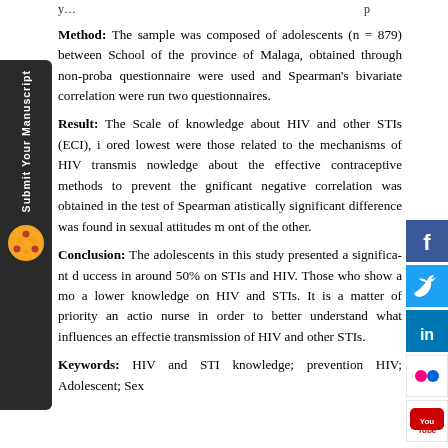Method: The sample was composed of adolescents (n = 879) between... School of the province of Malaga, obtained through non-proba... questionnaire were used and Spearman's bivariate correlation were run... two questionnaires.
Result: The Scale of knowledge about HIV and other STIs (ECI), i... ored lowest were those related to the mechanisms of HIV transmis... knowledge about the effective contraceptive methods to prevent the... gnificant negative correlation was obtained in the test of Spearman... atistically significant difference was found in sexual attitudes... ont of the other.
Conclusion: The adolescents in this study presented a significant d... uccess in around 50% on STIs and HIV. Those who show a mo... a lower knowledge on HIV and STIs. It is a matter of priority an actio... nurse in order to better understand what influences an effecti... e... transmission of HIV and other STIs.
Keywords: HIV and STI knowledge; prevention HIV; Adolescent; Sex...